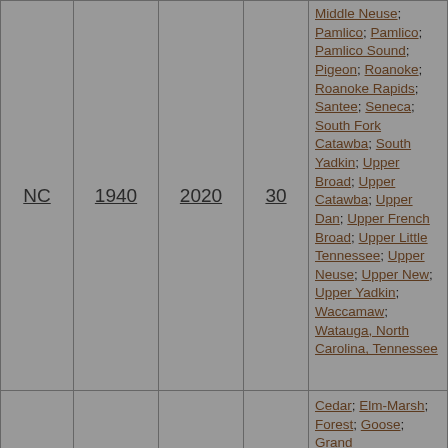| State | Start Year | End Year | Count | Watershed Names |
| --- | --- | --- | --- | --- |
| NC | 1940 | 2020 | 30 | Middle Neuse; Pamlico; Pamlico; Pamlico Sound; Pigeon; Roanoke; Roanoke Rapids; Santee; Seneca; South Fork Catawba; South Yadkin; Upper Broad; Upper Catawba; Upper Dan; Upper French Broad; Upper Little Tennessee; Upper Neuse; Upper New; Upper Yadkin; Waccamaw; Watauga, North Carolina, Tennessee |
|  |  |  |  | Cedar; Elm-Marsh; Forest; Goose; Grand... |